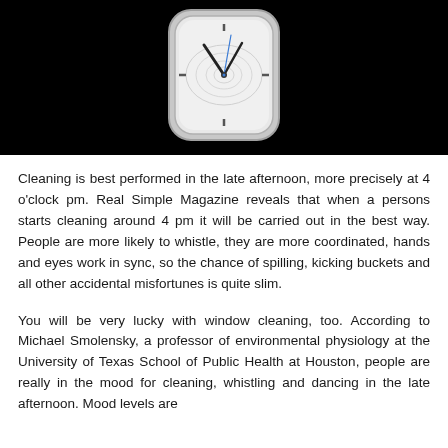[Figure (photo): A smartwatch face with a clock display showing approximately 10:10, on a black background. The watch has a rounded square silver/chrome bezel with a white/silver dial face showing topographic-style lines and a blue second hand or indicator.]
Cleaning is best performed in the late afternoon, more precisely at 4 o'clock pm. Real Simple Magazine reveals that when a persons starts cleaning around 4 pm it will be carried out in the best way. People are more likely to whistle, they are more coordinated, hands and eyes work in sync, so the chance of spilling, kicking buckets and all other accidental misfortunes is quite slim.
You will be very lucky with window cleaning, too. According to Michael Smolensky, a professor of environmental physiology at the University of Texas School of Public Health at Houston, people are really in the mood for cleaning, whistling and dancing in the late afternoon. Mood levels are